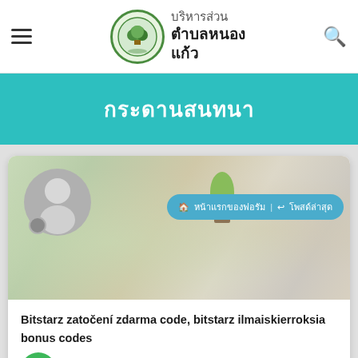องค์การบริหารส่วนตำบลหนองแก้ว
กระดานสนทนา
[Figure (screenshot): Forum post card with avatar, breadcrumb navigation showing หน้าแรกของฟอรัม and โพสด์ล่าสุด, background image of desk with plant and keyboard]
Bitstarz zatočení zdarma code, bitstarz ilmaiskierroksia bonus codes
ติดต่อเรา
เข้าร่วม: พ.ค. 11, 2022